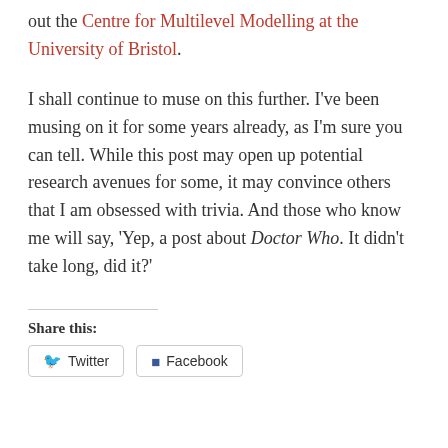out the Centre for Multilevel Modelling at the University of Bristol.
I shall continue to muse on this further. I've been musing on it for some years already, as I'm sure you can tell. While this post may open up potential research avenues for some, it may convince others that I am obsessed with trivia. And those who know me will say, 'Yep, a post about Doctor Who. It didn't take long, did it?'
Share this:
Twitter  Facebook